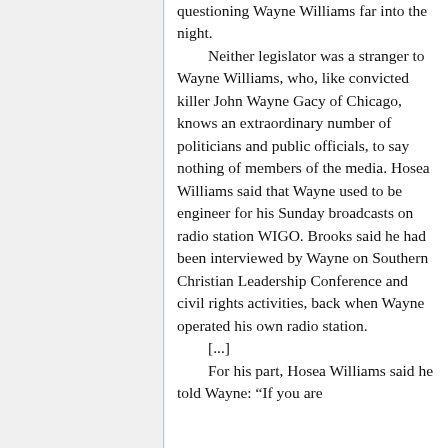questioning Wayne Williams far into the night.
    Neither legislator was a stranger to Wayne Williams, who, like convicted killer John Wayne Gacy of Chicago, knows an extraordinary number of politicians and public officials, to say nothing of members of the media. Hosea Williams said that Wayne used to be engineer for his Sunday broadcasts on radio station WIGO. Brooks said he had been interviewed by Wayne on Southern Christian Leadership Conference and civil rights activities, back when Wayne operated his own radio station.
    [...]
    For his part, Hosea Williams said he told Wayne: "If you are